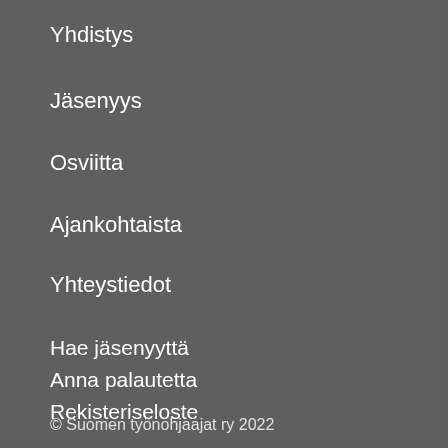Yhdistys
Jäsenyys
Osviitta
Ajankohtaista
Yhteystiedot
Hae jäsenyyttä
Anna palautetta
Rekisteriseloste
© Suomen työnohjaajat ry 2022